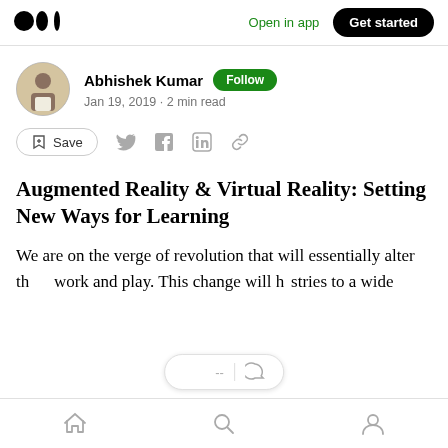Open in app | Get started
Abhishek Kumar · Follow · Jan 19, 2019 · 2 min read
Save
Augmented Reality & Virtual Reality: Setting New Ways for Learning
We are on the verge of revolution that will essentially alter th... work and play. This change will h... stries to a wide
Home · Search · Profile